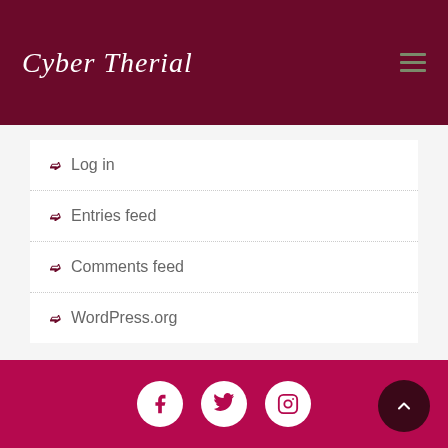Cyber Therial
Log in
Entries feed
Comments feed
WordPress.org
Social icons: Facebook, Twitter, Instagram